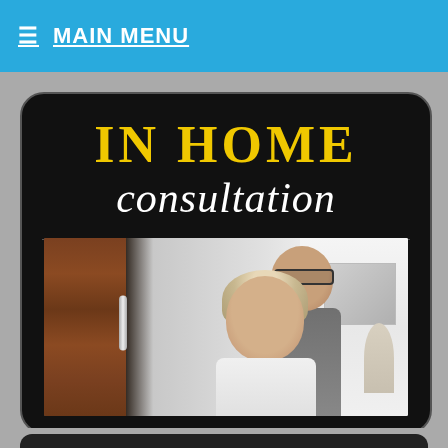☰ MAIN MENU
IN HOME consultation
[Figure (photo): A smiling couple (man with glasses behind a woman with blonde hair) partially visible behind a wooden door with a metal handle, in a bright home interior setting.]